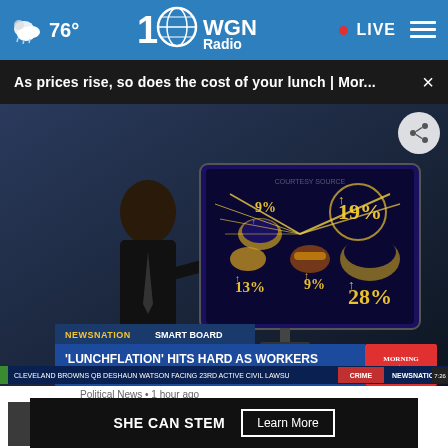76° | WGN Radio | • LIVE
As prices rise, so does the cost of your lunch | Mor... ×
[Figure (screenshot): News broadcast screenshot showing a man in a suit pointing to a smart board infographic displaying food price increases: 9%, 13%, 19%, 9%, 28%. Lower third reads: 'NEWSNATION SMART BOARD' and headline ''LUNCHFLATION' HITS HARD AS WORKERS RETURN TO OFFICES'. Ticker at bottom: 'CLEVELAND BROWNS QB DESHAUN WATSON FACING 23RD ACTIVE CIVIL LAWSU... CRIME NEWSNATION 7:26']
Political News • 1 hour ago
Vulnerable Democrats prep to face off at...
SHE CAN STEM   Learn More